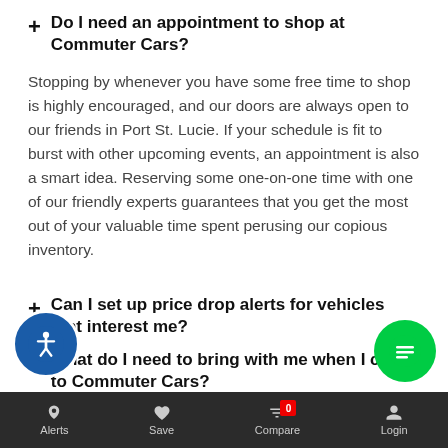+ Do I need an appointment to shop at Commuter Cars?
Stopping by whenever you have some free time to shop is highly encouraged, and our doors are always open to our friends in Port St. Lucie. If your schedule is fit to burst with other upcoming events, an appointment is also a smart idea. Reserving some one-on-one time with one of our friendly experts guarantees that you get the most out of your valuable time spent perusing our copious inventory.
+ Can I set up price drop alerts for vehicles that interest me?
+ What do I need to bring with me when I come to Commuter Cars?
+ Does Commuter Cars accept trade-in vehicles?
+ Should I trade my car in at Commuter Cars or sell it m...
Alerts  Save  Compare 0  Login